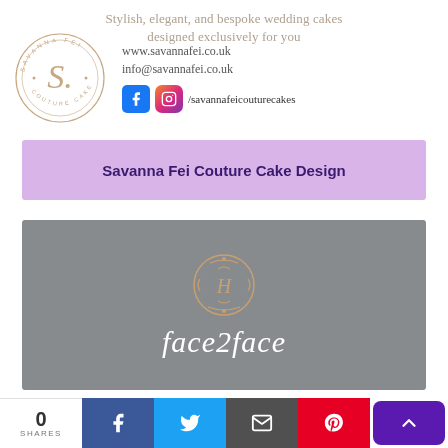Stylish, elegant, and bespoke wedding cakes designed exclusively for you
[Figure (logo): Savanna Fei Couture Cake Design circular logo with ornate S monogram]
www.savannafei.co.uk
info@savannafei.co.uk
/savannafeicouturecakes
Savanna Fei Couture Cake Design
[Figure (logo): face2face logo on grey background with ornate H monogram emblem]
0 SHARES